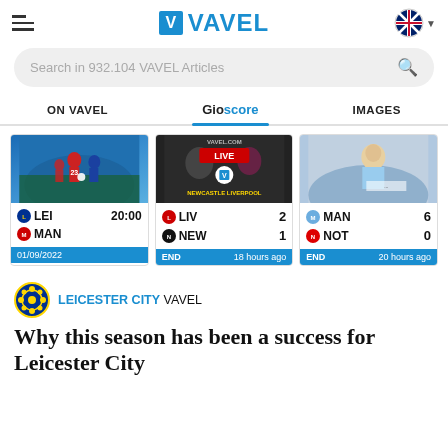VAVEL
Search in 932.104 VAVEL Articles
ON VAVEL | Gioscore | IMAGES
[Figure (screenshot): Three football match score cards: LEI vs MAN 20:00 01/09/2022; LIV 2 vs NEW 1 LIVE/END 18 hours ago; MAN 6 vs NOT 0 END 20 hours ago]
LEICESTER CITY VAVEL
Why this season has been a success for Leicester City